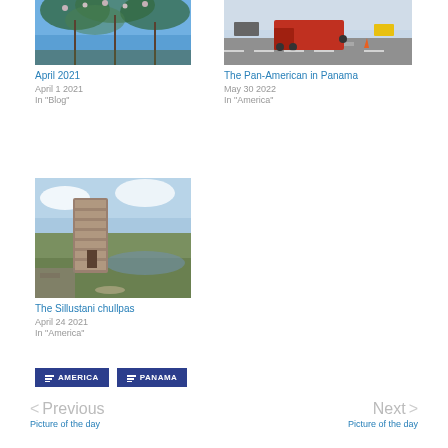[Figure (photo): Tree branches with blossoms against blue sky - April 2021]
April 2021
April 1 2021
In "Blog"
[Figure (photo): Red truck on Pan-American highway in Panama]
The Pan-American in Panama
May 30 2022
In "America"
[Figure (photo): Sillustani chullpas stone ruins in Peru landscape]
The Sillustani chullpas
April 24 2021
In "America"
AMERICA
PANAMA
< Previous
Picture of the day
Next >
Picture of the day